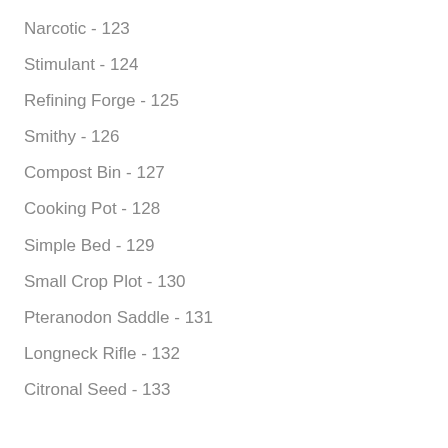Narcotic - 123
Stimulant - 124
Refining Forge - 125
Smithy - 126
Compost Bin - 127
Cooking Pot - 128
Simple Bed - 129
Small Crop Plot - 130
Pteranodon Saddle - 131
Longneck Rifle - 132
Citronal Seed - 133